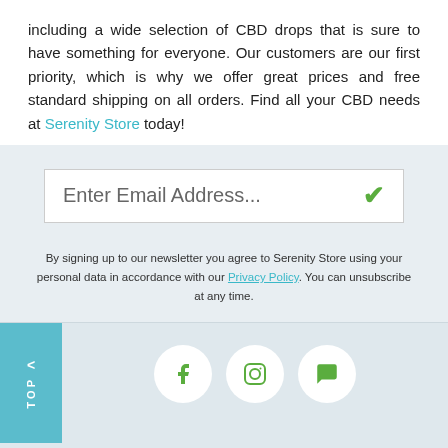including a wide selection of CBD drops that is sure to have something for everyone. Our customers are our first priority, which is why we offer great prices and free standard shipping on all orders. Find all your CBD needs at Serenity Store today!
[Figure (screenshot): Email newsletter signup input box with placeholder text 'Enter Email Address...' and a green checkmark icon on the right]
By signing up to our newsletter you agree to Serenity Store using your personal data in accordance with our Privacy Policy. You can unsubscribe at any time.
[Figure (infographic): Footer section with a cyan 'TOP' back-to-top button on the left, and three social media icon circles (Facebook, Instagram, chat bubble) in green]
HELP & INFORMATION
About Us
CBD Knowledge Base